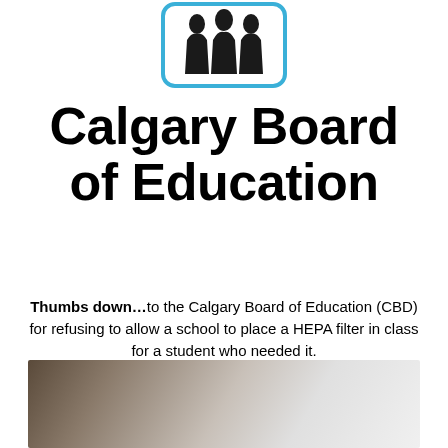[Figure (logo): Calgary Board of Education logo: silhouette of people/pillars inside a rounded square with blue border]
Calgary Board of Education
Thumbs down…to the Calgary Board of Education (CBD) for refusing to allow a school to place a HEPA filter in class for a student who needed it. Source: Calgary Herald
[Figure (photo): Partial photo showing a person in a car, blurred/partial view at bottom of page]